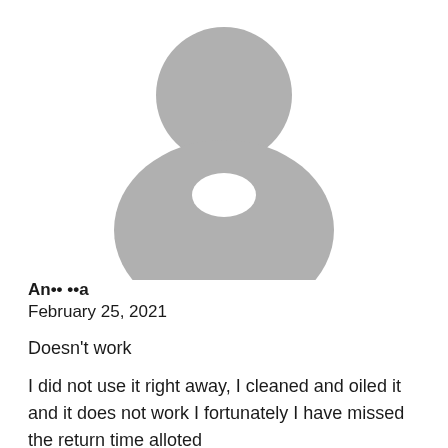[Figure (illustration): Default gray silhouette avatar of a person (head and shoulders), centered at top of page]
An•• ••a
February 25, 2021
Doesn't work
I did not use it right away, I cleaned and oiled it and it does not work I fortunately I have missed the return time alloted